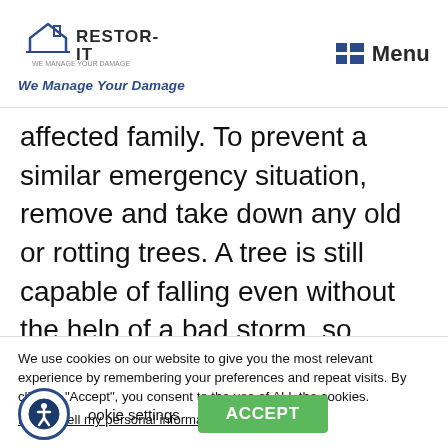Restor-IT — We Manage Your Damage | Menu
affected family. To prevent a similar emergency situation, remove and take down any old or rotting trees. A tree is still capable of falling even without the help of a bad storm, so minimize the chances of any potential future devastation and
We use cookies on our website to give you the most relevant experience by remembering your preferences and repeat visits. By clicking "Accept", you consent to the use of ALL the cookies.
Do not sell my personal information.
Cookie settings  ACCEPT